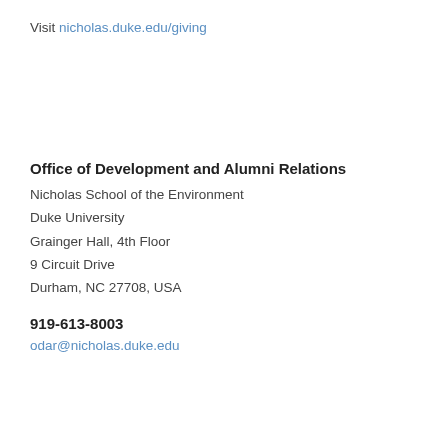Visit nicholas.duke.edu/giving
Office of Development and Alumni Relations
Nicholas School of the Environment
Duke University
Grainger Hall, 4th Floor
9 Circuit Drive
Durham, NC 27708, USA
919-613-8003
odar@nicholas.duke.edu
Home
Alumni News